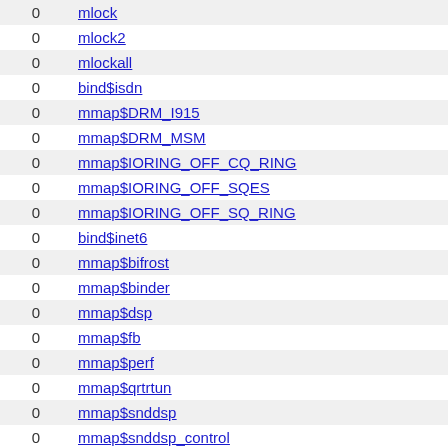|  |  |
| --- | --- |
| 0 | mlock |
| 0 | mlock2 |
| 0 | mlockall |
| 0 | bind$isdn |
| 0 | mmap$DRM_I915 |
| 0 | mmap$DRM_MSM |
| 0 | mmap$IORING_OFF_CQ_RING |
| 0 | mmap$IORING_OFF_SQES |
| 0 | mmap$IORING_OFF_SQ_RING |
| 0 | bind$inet6 |
| 0 | mmap$bifrost |
| 0 | mmap$binder |
| 0 | mmap$dsp |
| 0 | mmap$fb |
| 0 | mmap$perf |
| 0 | mmap$qrtrtun |
| 0 | mmap$snddsp |
| 0 | mmap$snddsp_control |
| 0 | mmap$snddsp_status |
| 0 | mmap$usbfs |